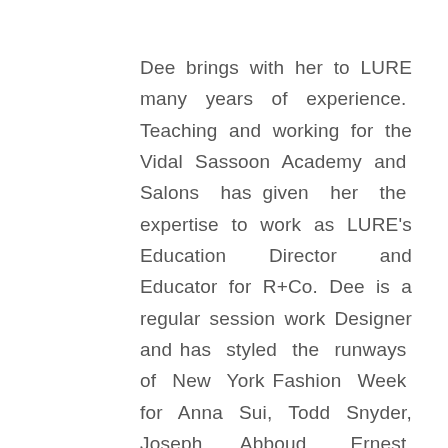Dee brings with her to LURE many years of experience. Teaching and working for the Vidal Sassoon Academy and Salons has given her the expertise to work as LURE's Education Director and Educator for R+Co. Dee is a regular session work Designer and has styled the runways of New York Fashion Week for Anna Sui, Todd Snyder, Joseph Abboud, Ernest Alexander, Timo Weiland, Chromat, Thomas Wylde, Kempner and The Blonds. Her creativity and originality is reflective of her years of editorial work. Her natural ease and confidence make her an excellent addition